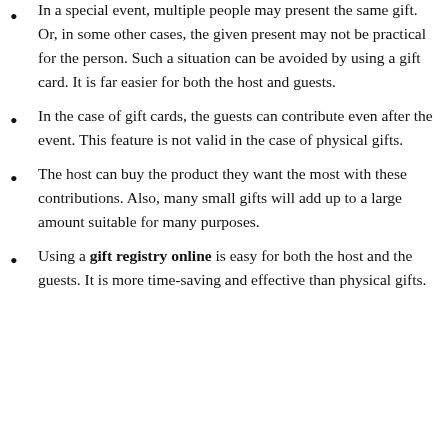In a special event, multiple people may present the same gift. Or, in some other cases, the given present may not be practical for the person. Such a situation can be avoided by using a gift card. It is far easier for both the host and guests.
In the case of gift cards, the guests can contribute even after the event. This feature is not valid in the case of physical gifts.
The host can buy the product they want the most with these contributions. Also, many small gifts will add up to a large amount suitable for many purposes.
Using a gift registry online is easy for both the host and the guests. It is more time-saving and effective than physical gifts.